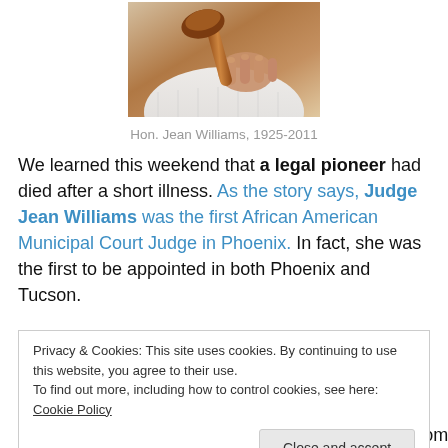[Figure (photo): Close-up photo of a person in a white knit sweater holding a wooden gavel]
Hon. Jean Williams, 1925-2011
We learned this weekend that a legal pioneer had died after a short illness. As the story says, Judge Jean Williams was the first African American Municipal Court Judge in Phoenix. In fact, she was the first to be appointed in both Phoenix and Tucson.
Privacy & Cookies: This site uses cookies. By continuing to use this website, you agree to their use.
To find out more, including how to control cookies, see here: Cookie Policy
[Close and accept]
accomplishments below, but ponder on this for a moment: